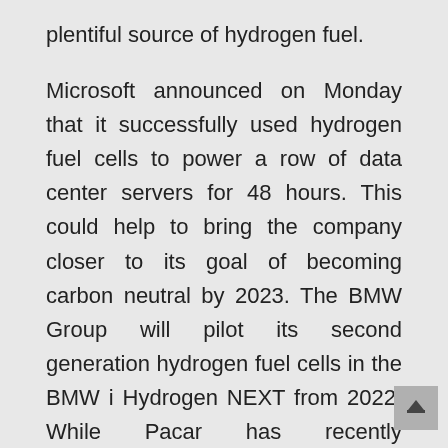plentiful source of hydrogen fuel.
Microsoft announced on Monday that it successfully used hydrogen fuel cells to power a row of data center servers for 48 hours. This could help to bring the company closer to its goal of becoming carbon neutral by 2023. The BMW Group will pilot its second generation hydrogen fuel cells in the BMW i Hydrogen NEXT from 2022. While Pacar has recently announced that it will test 10 hydrogen fuel cell trucks with customers in the Port of Los Angeles early next year.
To see the full article and a list of related reports on the market, visit "More Companies Look to Hydrogen Fuel Technology as Alternative to Fossil Fuels"